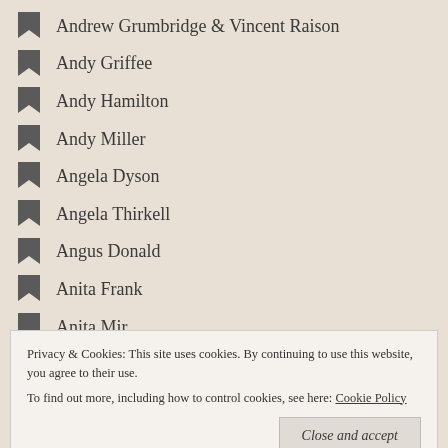Andrew Grumbridge & Vincent Raison
Andy Griffee
Andy Hamilton
Andy Miller
Angela Dyson
Angela Thirkell
Angus Donald
Anita Frank
Anita Mir
Ann Cleeves
Ann Victoria Roberts
Ann-Marie Einhaus
Privacy & Cookies: This site uses cookies. By continuing to use this website, you agree to their use.
To find out more, including how to control cookies, see here: Cookie Policy
Close and accept
Anna Nicholas